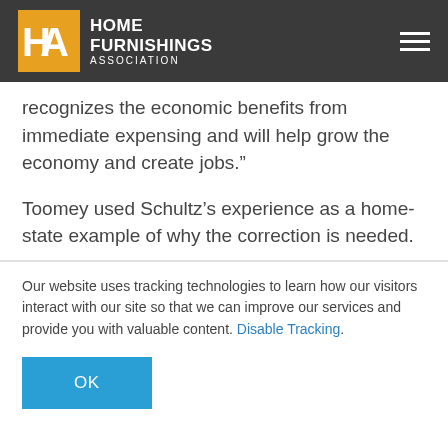HOME FURNISHINGS ASSOCIATION
recognizes the economic benefits from immediate expensing and will help grow the economy and create jobs.”
Toomey used Schultz’s experience as a home-state example of why the correction is needed.
Our website uses tracking technologies to learn how our visitors interact with our site so that we can improve our services and provide you with valuable content. Disable Tracking.
OK